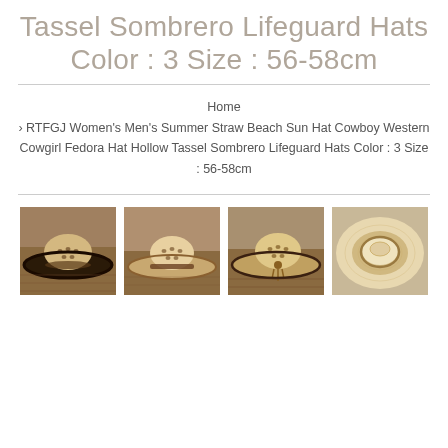Tassel Sombrero Lifeguard Hats Color : 3 Size : 56-58cm
Home › RTFGJ Women's Men's Summer Straw Beach Sun Hat Cowboy Western Cowgirl Fedora Hat Hollow Tassel Sombrero Lifeguard Hats Color : 3 Size : 56-58cm
[Figure (photo): Four product photos of straw cowboy/sombrero hats shown from different angles, displayed side by side]